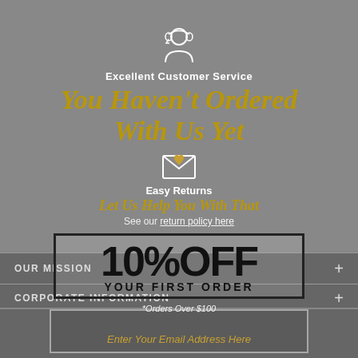[Figure (illustration): Customer service agent icon (headset with person silhouette) in white outline on gray background]
Excellent Customer Service
You Haven't Ordered With Us Yet
[Figure (illustration): Envelope with heart icon in white/gold outline]
Easy Returns
Let Us Help You With That
See our return policy here
[Figure (infographic): 10% OFF YOUR FIRST ORDER discount box with black border]
*Orders Over $100
OUR MISSION
CORPORATE INFORMATION
Enter Your Email Address Here